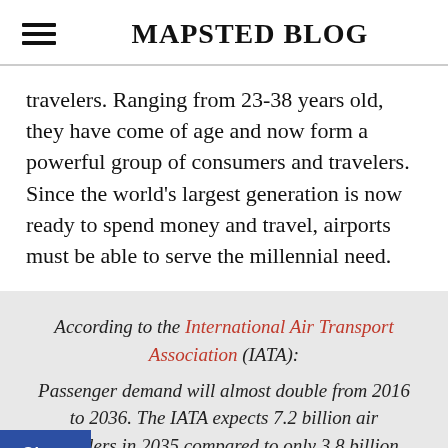MAPSTED BLOG
travelers. Ranging from 23-38 years old, they have come of age and now form a powerful group of consumers and travelers. Since the world's largest generation is now ready to spend money and travel, airports must be able to serve the millennial need.
According to the International Air Transport Association (IATA): Passenger demand will almost double from 2016 to 2036. The IATA expects 7.2 billion air travelers in 2035 compared to only 3.8 billion